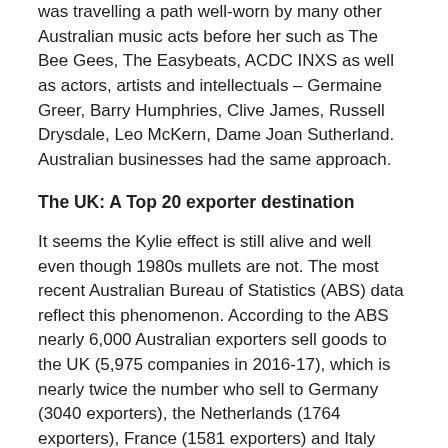was travelling a path well-worn by many other Australian music acts before her such as The Bee Gees, The Easybeats, ACDC INXS as well as actors, artists and intellectuals – Germaine Greer, Barry Humphries, Clive James, Russell Drysdale, Leo McKern, Dame Joan Sutherland. Australian businesses had the same approach.
The UK: A Top 20 exporter destination
It seems the Kylie effect is still alive and well even though 1980s mullets are not. The most recent Australian Bureau of Statistics (ABS) data reflect this phenomenon. According to the ABS nearly 6,000 Australian exporters sell goods to the UK (5,975 companies in 2016-17), which is nearly twice the number who sell to Germany (3040 exporters), the Netherlands (1764 exporters), France (1581 exporters) and Italy (552 exporters). The UK has always been in the Top 20 exporter destinations that is dominated by Asia.
This is not surprising, given the strong historical ties between Australia and the UK in terms of language, legal ties and institutions and the fact that the UK was our number one trading